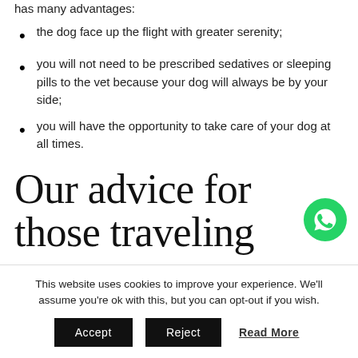…choosing a private flight if you are traveling with your pet has many advantages:
the dog face up the flight with greater serenity;
you will not need to be prescribed sedatives or sleeping pills to the vet because your dog will always be by your side;
you will have the opportunity to take care of your dog at all times.
Our advice for those traveling
[Figure (logo): WhatsApp green phone icon (circle with phone handset)]
This website uses cookies to improve your experience. We'll assume you're ok with this, but you can opt-out if you wish. Accept Reject Read More